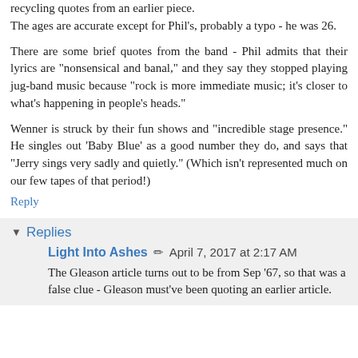recycling quotes from an earlier piece. The ages are accurate except for Phil's, probably a typo - he was 26.
There are some brief quotes from the band - Phil admits that their lyrics are "nonsensical and banal," and they say they stopped playing jug-band music because "rock is more immediate music; it's closer to what's happening in people's heads."
Wenner is struck by their fun shows and "incredible stage presence." He singles out 'Baby Blue' as a good number they do, and says that "Jerry sings very sadly and quietly." (Which isn't represented much on our few tapes of that period!)
Reply
Replies
Light Into Ashes  April 7, 2017 at 2:17 AM
The Gleason article turns out to be from Sep '67, so that was a false clue - Gleason must've been quoting an earlier article.